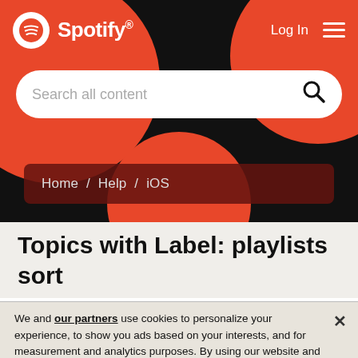[Figure (screenshot): Spotify website header with black background, red decorative circles, Spotify logo top-left, Log In and hamburger menu top-right]
[Figure (screenshot): Search bar with placeholder text 'Search all content' and magnifying glass icon on white rounded pill background]
Home / Help / iOS
Topics with Label: playlists sort
We and our partners use cookies to personalize your experience, to show you ads based on your interests, and for measurement and analytics purposes. By using our website and services, you agree to our use of